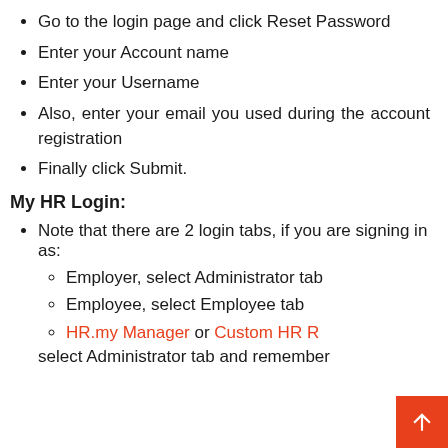Go to the login page and click Reset Password
Enter your Account name
Enter your Username
Also, enter your email you used during the account registration
Finally click Submit.
My HR Login:
Note that there are 2 login tabs, if you are signing in as:
Employer, select Administrator tab
Employee, select Employee tab
HR.my Manager or Custom HR R... select Administrator tab and remember